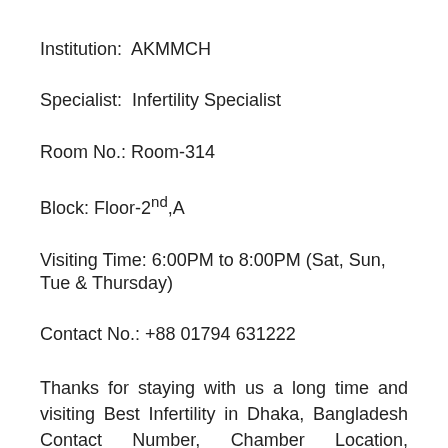Institution:  AKMMCH
Specialist:  Infertility Specialist
Room No.: Room-314
Block: Floor-2nd,A
Visiting Time: 6:00PM to 8:00PM (Sat, Sun, Tue & Thursday)
Contact No.: +88 01794 631222
Thanks for staying with us a long time and visiting Best Infertility in Dhaka, Bangladesh Contact Number, Chamber Location, Qualification, Registration and More Info Contact of